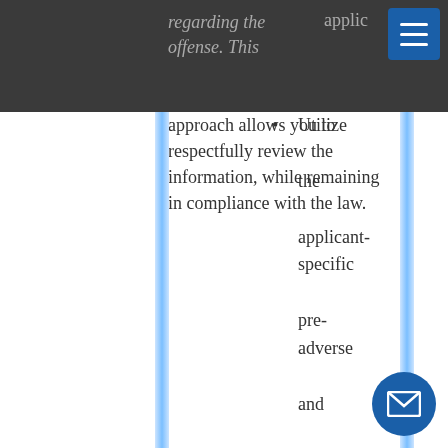regarding the offense. This applicant-
approach allows you to respectfully review the information, while remaining in compliance with the law.
Utilize the applicant-specific pre-adverse and adverse action letters